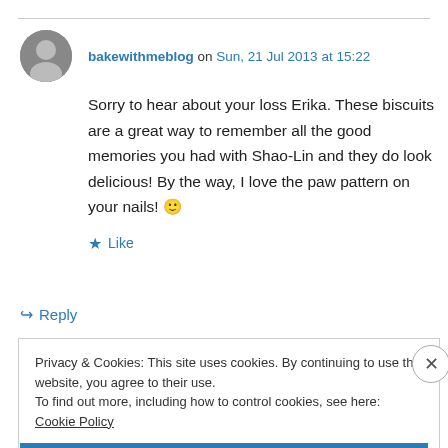bakewithmeblog on Sun, 21 Jul 2013 at 15:22
Sorry to hear about your loss Erika. These biscuits are a great way to remember all the good memories you had with Shao-Lin and they do look delicious! By the way, I love the paw pattern on your nails! 🙂
★ Like
↪ Reply
Privacy & Cookies: This site uses cookies. By continuing to use this website, you agree to their use.
To find out more, including how to control cookies, see here: Cookie Policy
Close and accept